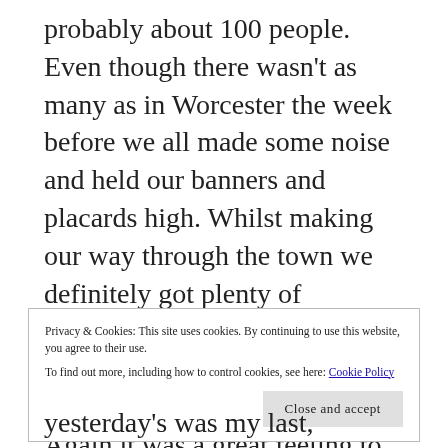probably about 100 people. Even though there wasn't as many as in Worcester the week before we all made some noise and held our banners and placards high. Whilst making our way through the town we definitely got plenty of attention as it was a busy Saturday afternoon so there were lots of people about. Again it was a great feeling to be surrounded by these people and it was a fantastic atmosphere.
Privacy & Cookies: This site uses cookies. By continuing to use this website, you agree to their use. To find out more, including how to control cookies, see here: Cookie Policy
Close and accept
yesterday's was my last, depending on